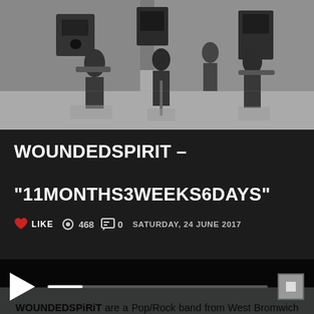[Figure (photo): Black and white overhead/bird's-eye view photo of a rock band performing, showing musicians with guitars and a vocalist at center stage with microphone, amplifiers visible in background.]
WOUNDEDSPIRIT – "11MONTHS3WEEKS6DAYS"
LIKE   468   0   SATURDAY, 24 JUNE 2017
WOUNDEDSPiRiT are a Pop/Rock band from West Bromwich in the UK, who in the nineties were strongly positioning themselves to be one of the emerging anthemic rock bands of the decade while gaining major support from big names in the